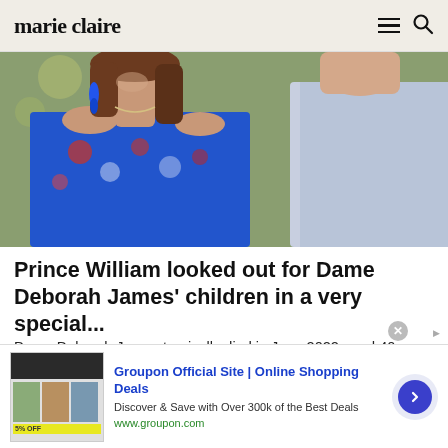marie claire
[Figure (photo): Photo of a woman with long brown hair wearing blue floral dress and blue drop earrings, smiling, with a man in a light blue shirt beside her, tropical foliage in background.]
Prince William looked out for Dame Deborah James' children in a very special...
Dame Deborah James tragically died in June 2022 aged 40. James was diagnosed with bowel cancer in 2016 an...
Marie Claire
[Figure (screenshot): Partial peek of the next article/image — dark strip at the bottom of the feed.]
Groupon Official Site | Online Shopping Deals
Discover & Save with Over 300k of the Best Deals
www.groupon.com